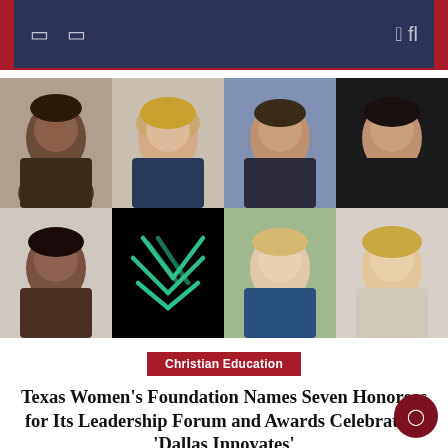Navigation bar with icons
[Figure (photo): Grid of 7 professional headshots (women) and one organization logo on black background, arranged in 2 rows of 4]
Christian Education
Texas Women’s Foundation Names Seven Honorees for Its Leadership Forum and Awards Celebration ‘Dallas Innovates’
The Texas Women’s Foundation, a leader in driving social and economic change for women, girls and families in Texas and...